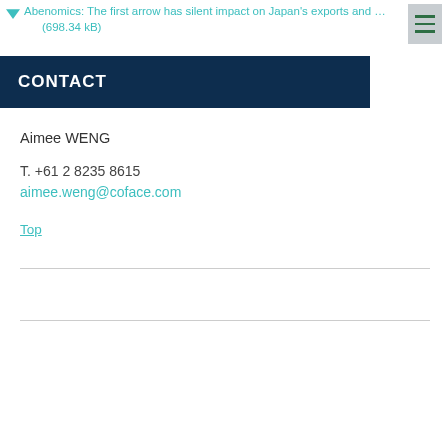Abenomics: The first arrow has silent impact on Japan's exports and ... (698.34 kB)
CONTACT
Aimee WENG
T. +61 2 8235 8615
aimee.weng@coface.com
Top
Legal notice - Data protection - Contact us
Australian Prudential Regulation Authority: Financial Claims Scheme
Cookie consent management
Desktop version
Follow us - Australia